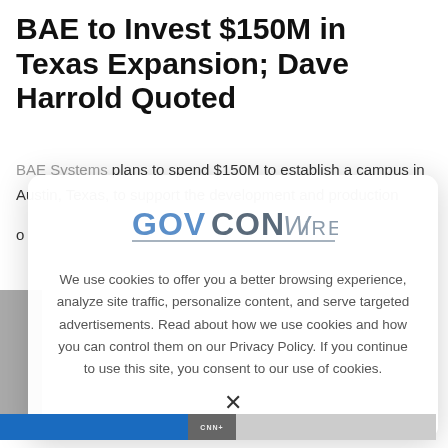BAE to Invest $150M in Texas Expansion; Dave Harrold Quoted
BAE Systems plans to spend $150M to establish a campus in Austin, Texas, to support the development and production o
[Figure (logo): GovConWire logo — GOVCON in blue/gray block letters, WIRE in thin gray letters, with underline]
We use cookies to offer you a better browsing experience, analyze site traffic, personalize content, and serve targeted advertisements. Read about how we use cookies and how you can control them on our Privacy Policy. If you continue to use this site, you consent to our use of cookies.
X